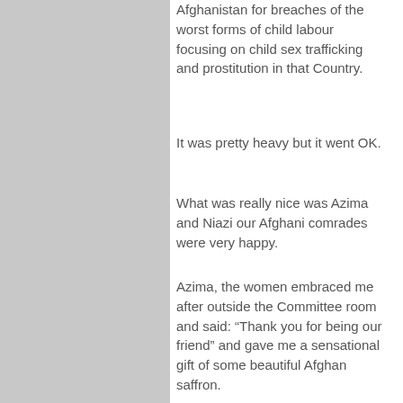Afghanistan for breaches of the worst forms of child labour focusing on child sex trafficking and prostitution in that Country.
It was pretty heavy but it went OK.
What was really nice was Azima and Niazi our Afghani comrades were very happy.
Azima, the women embraced me after outside the Committee room and said: “Thank you for being our friend” and gave me a sensational gift of some beautiful Afghan saffron.